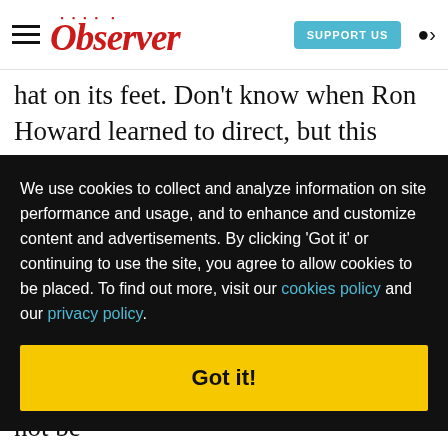Observer — SUPPORT US [button] | user icon
hat on its feet. Don't know when Ron Howard learned to direct, but this adaptation of Sylvia Nasar's biography of John Forbes Nash Jr. is ... never ... kind of ... e in ... ined, ... ing. ... en he
We use cookies to collect and analyze information on site performance and usage, and to enhance and customize content and advertisements. By clicking 'Got it' or continuing to use the site, you agree to allow cookies to be placed. To find out more, visit our cookies policy and our privacy policy.
Got it!
ew ... with a ... inal
whose published (tall) tale you or may not be